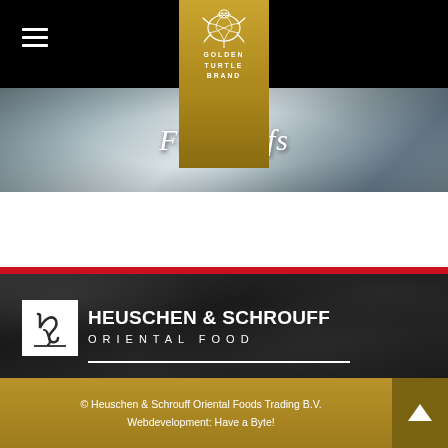[Figure (logo): Golden Turtle Brand logo on gold banner with turtle illustration and text 'GOLDEN TURTLE BRAND']
[Figure (photo): Food/chef photo background with script text 'For Chefs' overlaid]
[Figure (logo): Heuschen & Schrouff Oriental Food logo on dark textured stone background — white box with HS monogram mark, company name in white]
© Heuschen & Schrouff Oriental Foods Trading B.V.
Webdevelopment: Have a Byte!